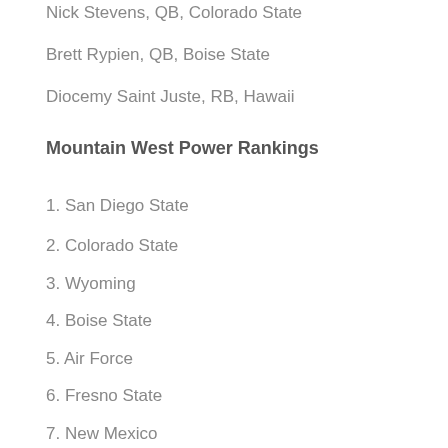Nick Stevens, QB, Colorado State
Brett Rypien, QB, Boise State
Diocemy Saint Juste, RB, Hawaii
Mountain West Power Rankings
1. San Diego State
2. Colorado State
3. Wyoming
4. Boise State
5. Air Force
6. Fresno State
7. New Mexico
8. Utah State
9. Hawaii